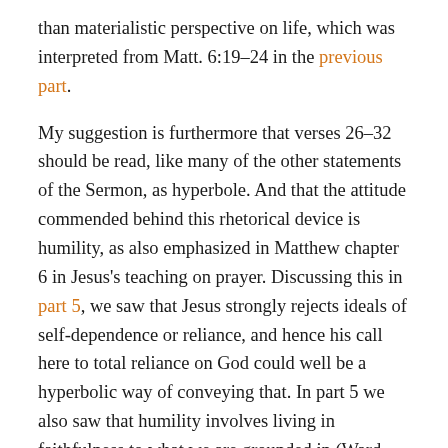than materialistic perspective on life, which was interpreted from Matt. 6:19–24 in the previous part.
My suggestion is furthermore that verses 26–32 should be read, like many of the other statements of the Sermon, as hyperbole. And that the attitude commended behind this rhetorical device is humility, as also emphasized in Matthew chapter 6 in Jesus's teaching on prayer. Discussing this in part 5, we saw that Jesus strongly rejects ideals of self-dependence or reliance, and hence his call here to total reliance on God could well be a hyperbolic way of conveying that. In part 5 we also saw that humility involves living in faithfulness to what we are grounded in (Ward, 136), but rather than this meaning blind faith, it is the term in the New Testament translated as "faith" but which means trust, for which "the opposite of faith is not infidelity, but … anxiety." (Borg, 121) The Christian concept of faith can be hence be interpreted as